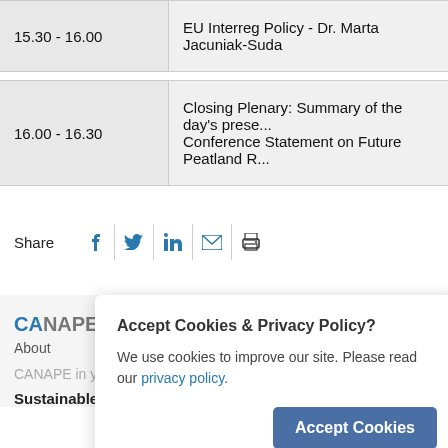| Time | Session |
| --- | --- |
| 15.30 - 16.00 | EU Interreg Policy - Dr. Marta Jacuniak-Suda |
| 16.00 - 16.30 | Closing Plenary: Summary of the day's prese... Conference Statement on Future Peatland R... |
Share
Accept Cookies & Privacy Policy? We use cookies to improve our site. Please read our privacy policy.
CANAPE
About
CANAPE in your Language
Sustainable Peatlands Conference